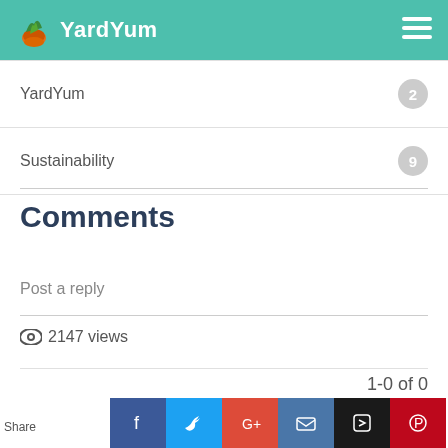YardYum
YardYum  2
Sustainability  9
Comments
Post a reply
2147 views
1-0 of 0